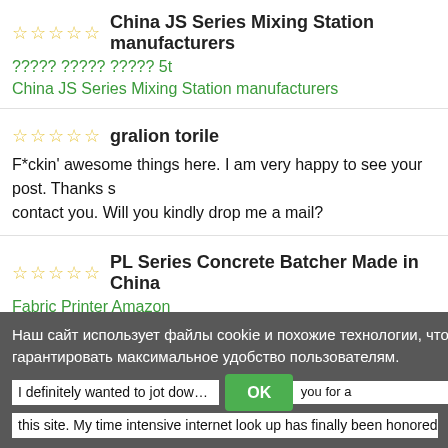☆☆☆☆☆  China JS Series Mixing Station manufacturers
????? ????? ????? 5t
China JS Series Mixing Station manufacturers
☆☆☆☆☆  gralion torile
F*ckin' awesome things here. I am very happy to see your post. Thanks s... contact you. Will you kindly drop me a mail?
☆☆☆☆☆  PL Series Concrete Batcher Made in China
Fabric Printer Amazon
PL Series Concrete Batcher Made in China
Наш сайт использует файлы cookie и похожие технологии, чтобы гарантировать максимальное удобство пользователям.
ОК
I definitely wanted to jot down a brief message to say thank you for a... this site. My time intensive internet look up has finally been honored with